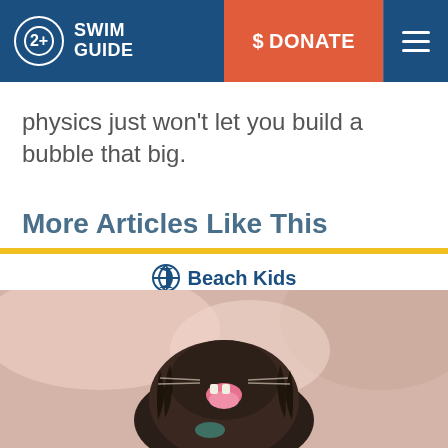[Figure (logo): Swim Guide website header with logo, donate button, and hamburger menu]
physics just won't let you build a bubble that big.
More Articles Like This
Beach Kids
[Figure (photo): Close-up photo of a wet dog looking upward with mouth open and tongue out, set against a blurred outdoor background]